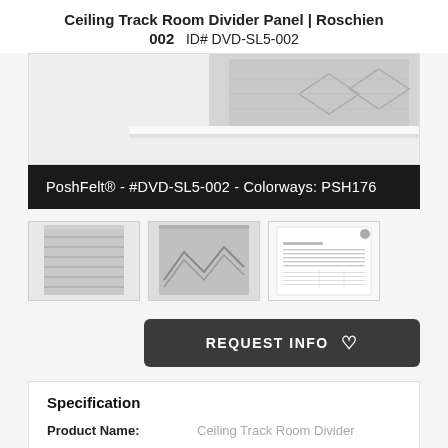Ceiling Track Room Divider Panel | Roschien 002  ID# DVD-SL5-002
[Figure (photo): Product photo showing ceiling track room divider panel at an angle, partially cropped, with a light grey background]
PoshFelt® - #DVD-SL5-002 - Colorways: PSH176
[Figure (photo): Three thumbnail images of the ceiling track room divider: left thumbnail shows front view with horizontal lines, center thumbnail shows angled view with chevron/zigzag pattern, right thumbnail shows a specification sheet document]
REQUEST INFO ♡
Specification
Product Name:   Ceiling Track Room Divider